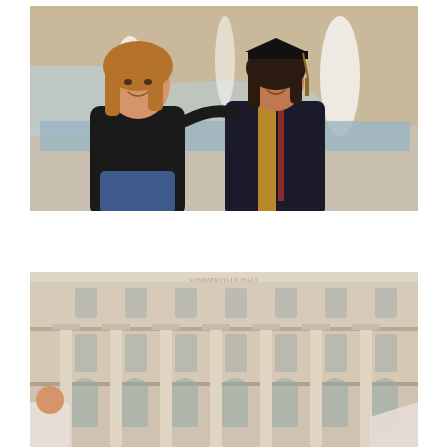[Figure (photo): Two women smiling together in front of a fountain. One woman on the left wears a black top and jeans. The other woman on the right wears a graduation cap and gown (dark navy/black) with a gold sash/stole underneath, indicating a university graduation.]
[Figure (photo): A large, neoclassical university building with tall white columns on multiple floors and arched windows on the ground floor. A person in a white graduation gown is partially visible in the lower left corner.]